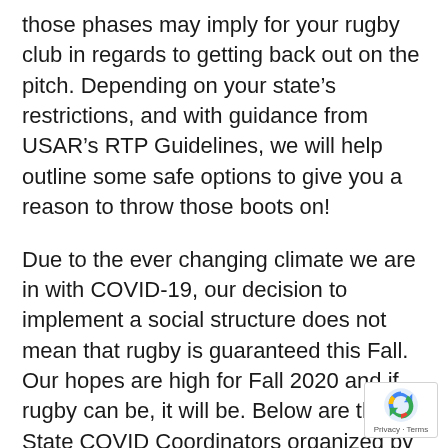those phases may imply for your rugby club in regards to getting back out on the pitch. Depending on your state's restrictions, and with guidance from USAR's RTP Guidelines, we will help outline some safe options to give you a reason to throw those boots on!
Due to the ever changing climate we are in with COVID-19, our decision to implement a social structure does not mean that rugby is guaranteed this Fall. Our hopes are high for Fall 2020 and if rugby can be, it will be. Below are the State COVID Coordinators organized by state and they will be used to guide clubs making a schedule when that time comes